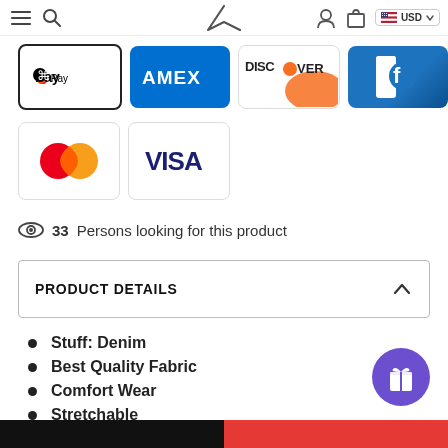Navigation bar with hamburger menu, search, logo, user icon, bag icon, USD currency selector
[Figure (logo): Apple Pay payment logo card]
[Figure (logo): American Express (AMEX) payment logo card]
[Figure (logo): Discover payment logo card]
[Figure (logo): Forter or similar payment logo card (blue with white f)]
[Figure (logo): Mastercard payment logo card]
[Figure (logo): Visa payment logo card]
33 Persons looking for this product
PRODUCT DETAILS
Stuff: Denim
Best Quality Fabric
Comfort Wear
Stretchable